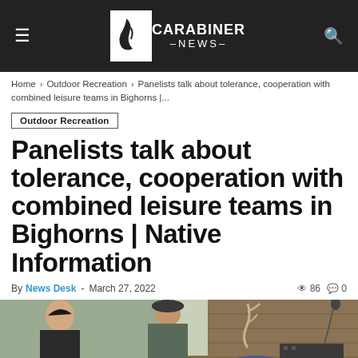CARABINER –NEWS–
Home › Outdoor Recreation › Panelists talk about tolerance, cooperation with combined leisure teams in Bighorns |...
Outdoor Recreation
Panelists talk about tolerance, cooperation with combined leisure teams in Bighorns | Native Information
By News Desk - March 27, 2022  86  0
[Figure (photo): Indoor gathering scene with people seated at tables in a rustic wood-paneled venue. People are visible in foreground and background, some wearing hats and casual clothing.]